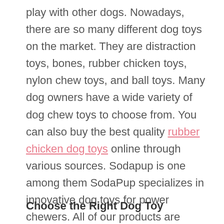play with other dogs. Nowadays, there are so many different dog toys on the market. They are distraction toys, bones, rubber chicken toys, nylon chew toys, and ball toys. Many dog owners have a wide variety of dog chew toys to choose from. You can also buy the best quality rubber chicken dog toys online through various sources. Sodapup is one among them SodaPup specializes in innovative dog toys for power chewers. All of our products are manufactured in the USA.
Choose the Right Dog Toy